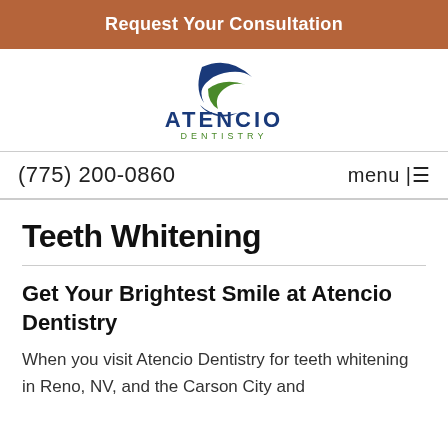Request Your Consultation
[Figure (logo): Atencio Dentistry logo with stylized swoosh mark in blue and green above the text ATENCIO DENTISTRY]
(775) 200-0860
menu | ≡
Teeth Whitening
Get Your Brightest Smile at Atencio Dentistry
When you visit Atencio Dentistry for teeth whitening in Reno, NV, and the Carson City and